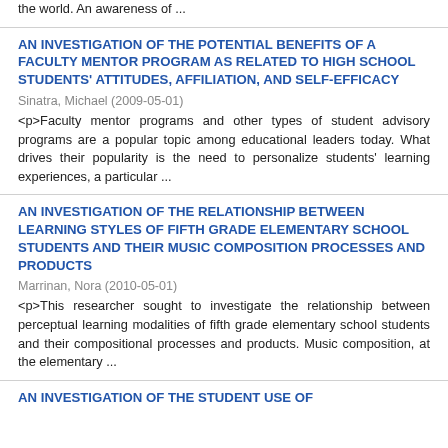the world. An awareness of ...
AN INVESTIGATION OF THE POTENTIAL BENEFITS OF A FACULTY MENTOR PROGRAM AS RELATED TO HIGH SCHOOL STUDENTS' ATTITUDES, AFFILIATION, AND SELF-EFFICACY
Sinatra, Michael (2009-05-01)
<p>Faculty mentor programs and other types of student advisory programs are a popular topic among educational leaders today. What drives their popularity is the need to personalize students' learning experiences, a particular ...
AN INVESTIGATION OF THE RELATIONSHIP BETWEEN LEARNING STYLES OF FIFTH GRADE ELEMENTARY SCHOOL STUDENTS AND THEIR MUSIC COMPOSITION PROCESSES AND PRODUCTS
Marrinan, Nora (2010-05-01)
<p>This researcher sought to investigate the relationship between perceptual learning modalities of fifth grade elementary school students and their compositional processes and products. Music composition, at the elementary ...
AN INVESTIGATION OF THE STUDENT USE OF